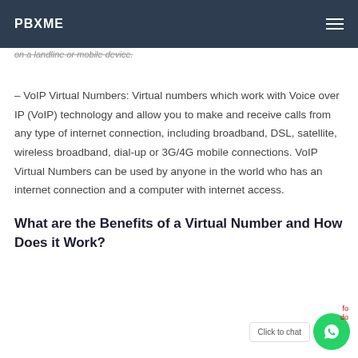PBXME
on a landline or mobile device.
– VoIP Virtual Numbers: Virtual numbers which work with Voice over IP (VoIP) technology and allow you to make and receive calls from any type of internet connection, including broadband, DSL, satellite, wireless broadband, dial-up or 3G/4G mobile connections. VoIP Virtual Numbers can be used by anyone in the world who has an internet connection and a computer with internet access.
What are the Benefits of a Virtual Number and How Does it Work?